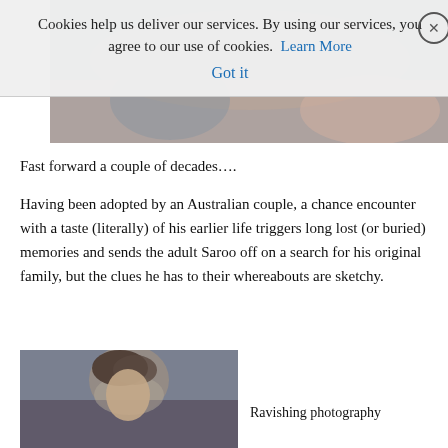[Figure (photo): Top image strip showing hands touching, partial view of two people]
Cookies help us deliver our services. By using our services, you agree to our use of cookies. Learn More Got it
Fast forward a couple of decades….
Having been adopted by an Australian couple, a chance encounter with a taste (literally) of his earlier life triggers long lost (or buried) memories and sends the adult Saroo off on a search for his original family, but the clues he has to their whereabouts are sketchy.
[Figure (photo): Young man with curly dark hair looking upward, appears to be Dev Patel in the film Lion]
Ravishing photography